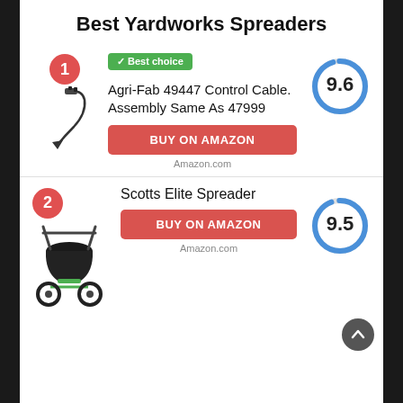Best Yardworks Spreaders
✓ Best choice
Agri-Fab 49447 Control Cable. Assembly Same As 47999
[Figure (donut-chart): Score 9.6]
BUY ON AMAZON
Amazon.com
Scotts Elite Spreader
[Figure (donut-chart): Score 9.5]
BUY ON AMAZON
Amazon.com